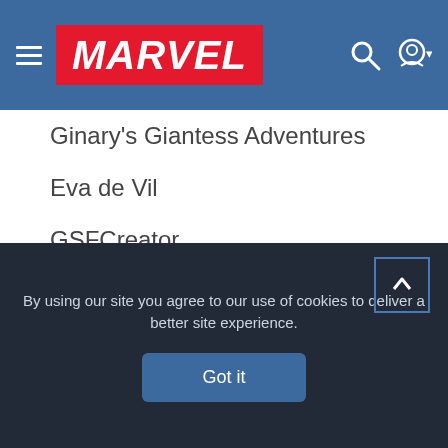MARVEL
Ginary's Giantess Adventures
Eva de Vil
GSFCreator
Cinematic-GTS
Giantess Katelyn
CGVore
Filth Fetish Studios
AshkiiWolf
By using our site you agree to our use of cookies to deliver a better site experience.
Got it